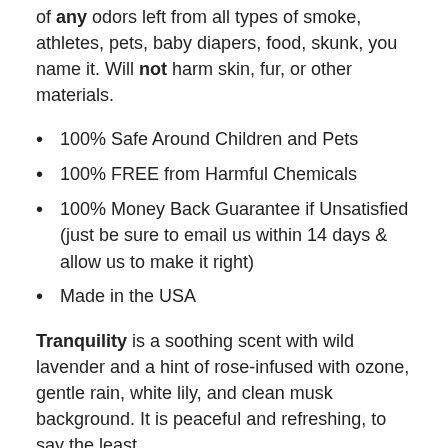of any odors left from all types of smoke, athletes, pets, baby diapers, food, skunk, you name it. Will not harm skin, fur, or other materials.
100% Safe Around Children and Pets
100% FREE from Harmful Chemicals
100% Money Back Guarantee if Unsatisfied (just be sure to email us within 14 days & allow us to make it right)
Made in the USA
Tranquility is a soothing scent with wild lavender and a hint of rose-infused with ozone, gentle rain, white lily, and clean musk background. It is peaceful and refreshing, to say the least.
Unscented is powerful enough to eliminate odors without the need for a fragrance because odors are neutralized and eliminated, not masked by a scent.